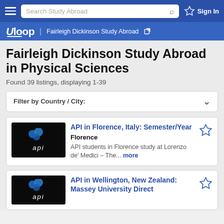Search Study Abroad | Sign In
Uloop | Fairleigh Dickinson Study Abroad
Fairleigh Dickinson Study Abroad in Physical Sciences
Found 39 listings, displaying 1-39
Filter by Country / City:
API in Florence, Italy: Semester/Year
Florence
API students in Florence study at Lorenzo de' Medici – The... more
API in Wellington, New Zealand: Massey University Direct Enrollment